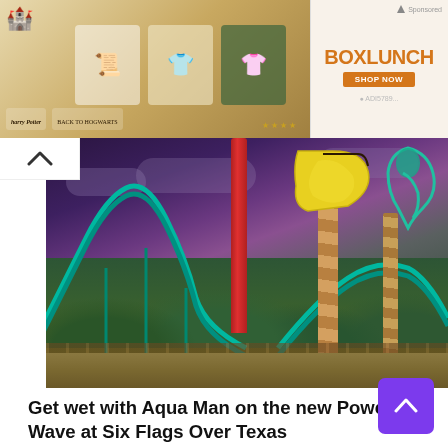[Figure (photo): BoxLunch advertisement banner showing Harry Potter merchandise including robes, accessories, and branded items with orange BoxLunch logo and 'SHOP NOW' button]
[Figure (photo): Aqua Man Power Wave ride at Six Flags Over Texas - teal roller coaster track with candy-stripe poles, sea creature decorations, yellow fish cutout, red tower, against a purple-blue sky]
Get wet with Aqua Man on the new Power Wave at Six Flags Over Texas
[Figure (photo): Joker character (Joaquin Phoenix) in clown makeup with green hair against a dark warm-toned background]